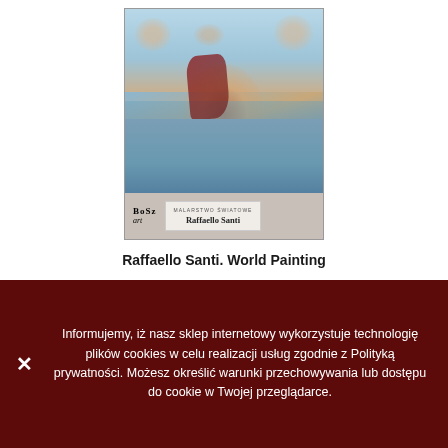[Figure (illustration): Book cover of 'Raffaello Santi. World Painting' by BoSz art publisher, featuring a Renaissance fresco painting with cherubs and figures in a classical mythological scene. The bottom of the cover shows the BoSz art logo and a title badge reading 'Raffaello Santi'.]
Raffaello Santi. World Painting
Informujemy, iż nasz sklep internetowy wykorzystuje technologię plików cookies w celu realizacji usług zgodnie z Polityką prywatności. Możesz określić warunki przechowywania lub dostępu do cookie w Twojej przeglądarce.